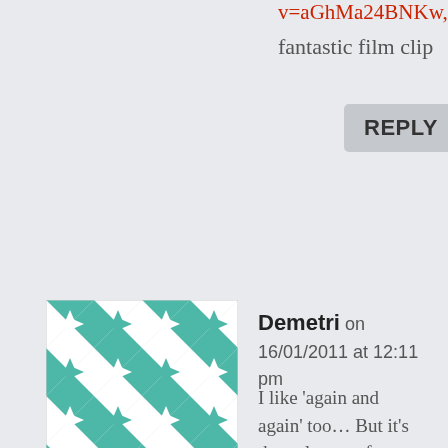v=aGhMa24BNKw, fantastic film clip
REPLY
[Figure (illustration): Geometric quilt pattern avatar in teal and white with star/pinwheel motifs]
Demetri on 16/01/2011 at 12:11 pm
I like 'again and again' too… But it's the only song from 2pm i like. However Korea's 'Girl's Generation' seems to be ruling Asia at the moment, they've topped the Korean AND